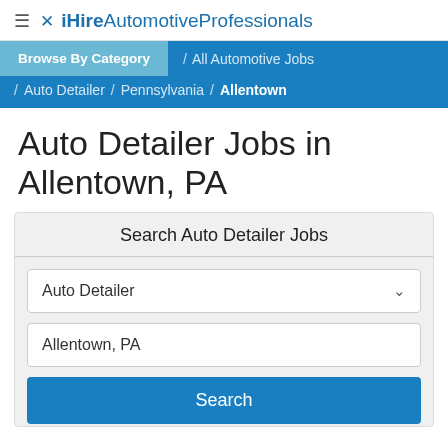≡ ✕ iHireAutomotiveProfessionals
Browse By Category / All Automotive Jobs / Auto Detailer / Pennsylvania / Allentown
Auto Detailer Jobs in Allentown, PA
Search Auto Detailer Jobs
Auto Detailer
Allentown, PA
Search